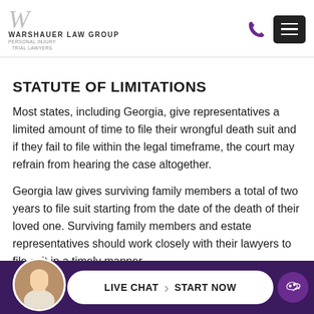[Figure (logo): Warshauer Law Group logo with stylized W and text 'WARSHAUER LAW GROUP TRIAL LAWYERS']
STATUTE OF LIMITATIONS
Most states, including Georgia, give representatives a limited amount of time to file their wrongful death suit and if they fail to file within the legal timeframe, the court may refrain from hearing the case altogether.
Georgia law gives surviving family members a total of two years to file suit starting from the date of the death of their loved one. Surviving family members and estate representatives should work closely with their lawyers to file suit in a timely manner.